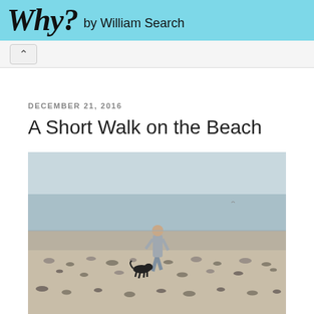Why? by William Search
DECEMBER 21, 2016
A Short Walk on the Beach
[Figure (photo): A person walking a black dog along a rocky beach shoreline, viewed from behind. The sea is visible in the background under an overcast sky.]